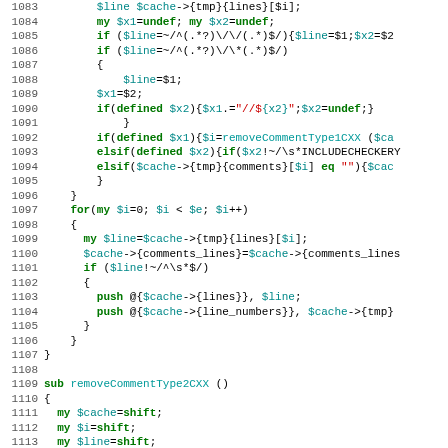Source code listing, lines 1083-1113, Perl code with syntax highlighting